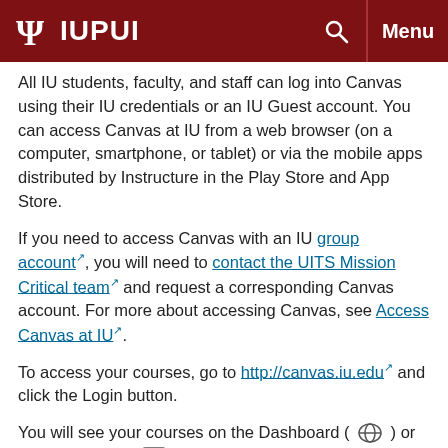IUPUI
All IU students, faculty, and staff can log into Canvas using their IU credentials or an IU Guest account. You can access Canvas at IU from a web browser (on a computer, smartphone, or tablet) or via the mobile apps distributed by Instructure in the Play Store and App Store.
If you need to access Canvas with an IU group account, you will need to contact the UITS Mission Critical team and request a corresponding Canvas account. For more about accessing Canvas, see Access Canvas at IU.
To access your courses, go to http://canvas.iu.edu and click the Login button.
You will see your courses on the Dashboard ( ) or in the Courses ( ) list.